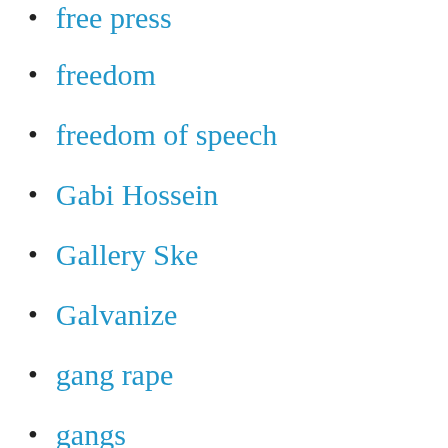free press
freedom
freedom of speech
Gabi Hossein
Gallery Ske
Galvanize
gang rape
gangs
ganja
Garveyism
gas tax
gay politics
Gay rights
Gaza
Geeta Kapur
Gender politics
Gender-based violence